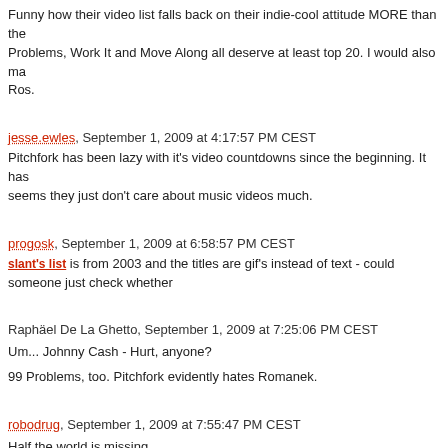Funny how their video list falls back on their indie-cool attitude MORE than the Problems, Work It and Move Along all deserve at least top 20. I would also ma Ros.
jesse.ewles, September 1, 2009 at 4:17:57 PM CEST
Pitchfork has been lazy with it's video countdowns since the beginning. It has seems they just don't care about music videos much.
progosk, September 1, 2009 at 6:58:57 PM CEST
slant's list is from 2003 and the titles are gif's instead of text - could someone just check whether
Raphäel De La Ghetto, September 1, 2009 at 7:25:06 PM CEST
Um... Johnny Cash - Hurt, anyone?
99 Problems, too. Pitchfork evidently hates Romanek.
robodrug, September 1, 2009 at 7:55:47 PM CEST
Half the world is missing....